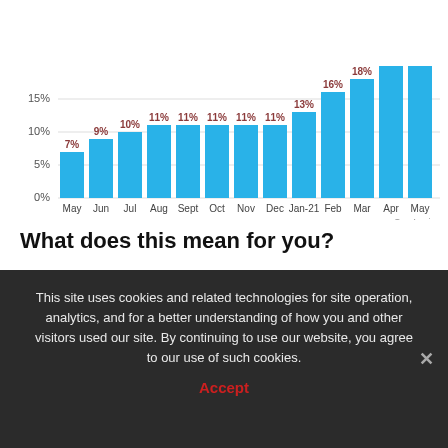[Figure (bar-chart): ]
What does this mean for you?
Ultimately, knowledge is power. The best thing you can do is understand appraisal gaps may impact your transaction if you're buying or selling. If you do encounter an appraisal below your contract price, know that in today's sellers'
This site uses cookies and related technologies for site operation, analytics, and for a better understanding of how you and other visitors used our site. By continuing to use our website, you agree to our use of such cookies.
Accept